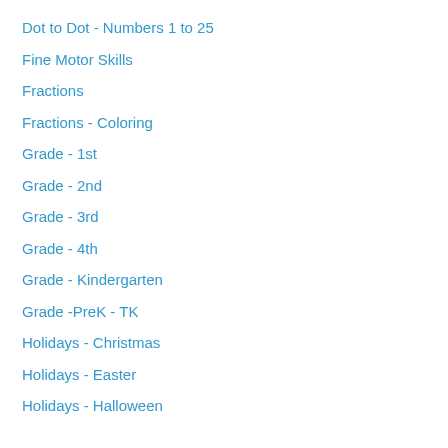Dot to Dot - Numbers 1 to 25
Fine Motor Skills
Fractions
Fractions - Coloring
Grade - 1st
Grade - 2nd
Grade - 3rd
Grade - 4th
Grade - Kindergarten
Grade -PreK - TK
Holidays - Christmas
Holidays - Easter
Holidays - Halloween